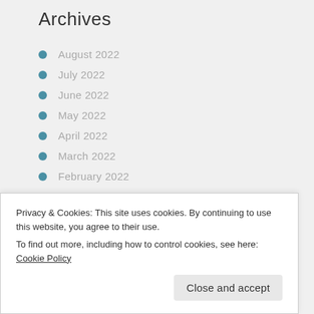Archives
August 2022
July 2022
June 2022
May 2022
April 2022
March 2022
February 2022
January 2022
December 2021
November 2021
October 2021
Privacy & Cookies: This site uses cookies. By continuing to use this website, you agree to their use.
To find out more, including how to control cookies, see here: Cookie Policy
May 2021